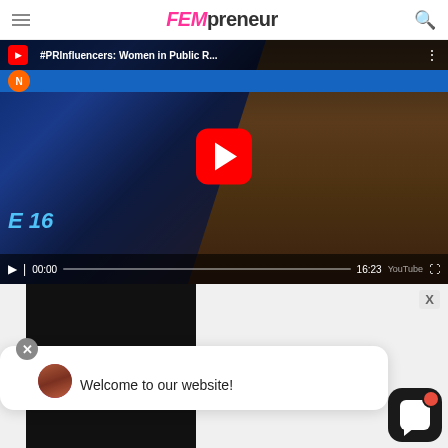FEMpreneur
[Figure (screenshot): YouTube video thumbnail showing a woman being interviewed on a news channel (Nasdaq/TV). Video title: '#PRInfluencers: Women in Public R...'. Shows red YouTube play button in center, video controls at bottom showing time 00:00 and duration 16:23. YouTube watermark visible bottom right.]
[Figure (screenshot): Black video block partially visible below main video. Welcome chat popup overlay showing 'Welcome to our website!' with a woman avatar and close X button. Chat widget icon bottom right with red notification dot.]